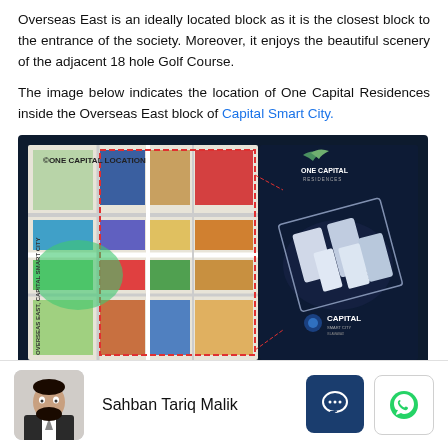Overseas East is an ideally located block as it is the closest block to the entrance of the society. Moreover, it enjoys the beautiful scenery of the adjacent 18 hole Golf Course.
The image below indicates the location of One Capital Residences inside the Overseas East block of Capital Smart City.
[Figure (map): Map showing One Capital Location within Overseas East, Capital Smart City, with a 3D rendering of One Capital Residences building on the right side. Labels: ONE CAPITAL LOCATION, OVERSEAS EAST, CAPITAL SMART CITY, ONE CAPITAL (logo), CAPITAL SMART CITY (logo), realprojects.com]
The master plan of Capital Smart City is the backdrop...